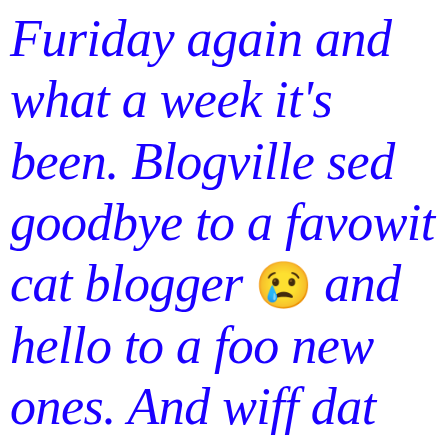Furiday again and what a week it's been. Blogville sed goodbye to a favowit cat blogger 😢 and hello to a foo new ones. And wiff dat bein' sed, weez fawt dat we wuld